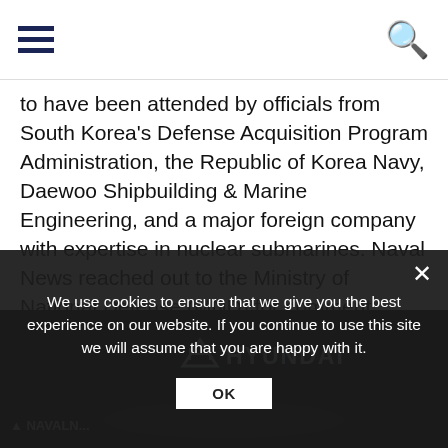[hamburger menu] [search icon]
to have been attended by officials from South Korea's Defense Acquisition Program Administration, the Republic of Korea Navy, Daewoo Shipbuilding & Marine Engineering, and a major foreign company with expertise in nuclear submarines. Naval News reached out to the Ministry of National Defense (MND) for comment.
[Figure (photo): Dark image with Hyundai logo (triangle and HYUNDAI text in white) and Naval News watermark at bottom left, showing submarine-related imagery in background. Cookie consent overlay covers lower portion.]
We use cookies to ensure that we give you the best experience on our website. If you continue to use this site we will assume that you are happy with it.